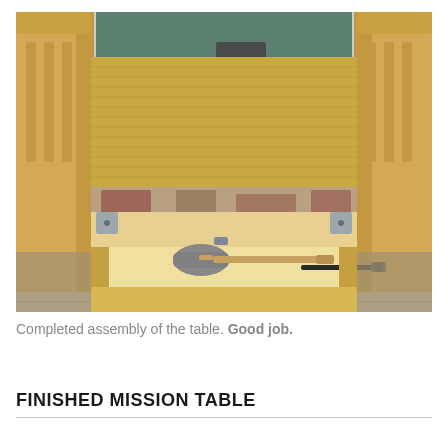[Figure (photo): Photograph taken from under a wooden table looking upward and outward. The table has light wood (bamboo) top surface visible, with wooden chair legs and slats on the left and right sides. Below the table surface, assembly hardware including metal brackets/clips on the corners are visible, along with a rubber mallet and a screwdriver resting on a lighter-colored wooden shelf/apron. A patterned area rug is visible on a tile floor, and a dining room background is seen through the table legs.]
Completed assembly of the table. Good job.
FINISHED MISSION TABLE